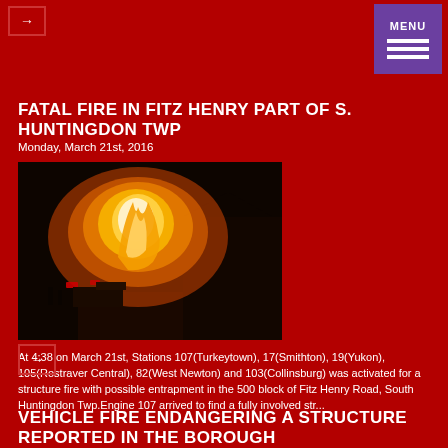FATAL FIRE IN FITZ HENRY PART OF S. HUNTINGDON TWP
Monday, March 21st, 2016
[Figure (photo): Night photo of a structure fire with large flames and emergency vehicles visible on a street]
At 4:38 on March 21st, Stations 107(Turkeytown), 17(Smithton), 19(Yukon), 105(Rostraver Central), 82(West Newton) and 103(Collinsburg) was activated for a structure fire with possible entrapment in the 500 block of Fitz Henry Road, South Huntingdon Twp.Engine 107 arrived to find a fully involved str...
VEHICLE FIRE ENDANGERING A STRUCTURE REPORTED IN THE BOROUGH